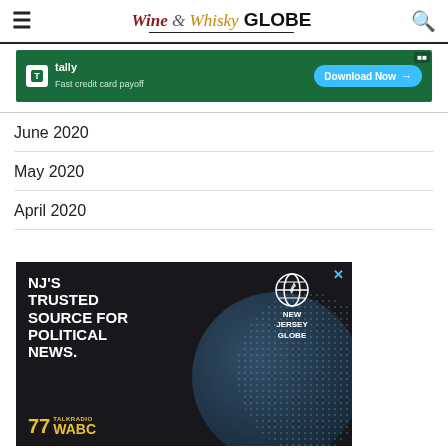Wine & Whisky GLOBE
[Figure (other): Tally app advertisement banner - green background, 'Fast credit card payoff', Download Now button]
June 2020
May 2020
April 2020
[Figure (other): New Jersey Globe advertisement - dark background, NJ's Trusted Source for Political News, 77 WABC TalkRadio logo]